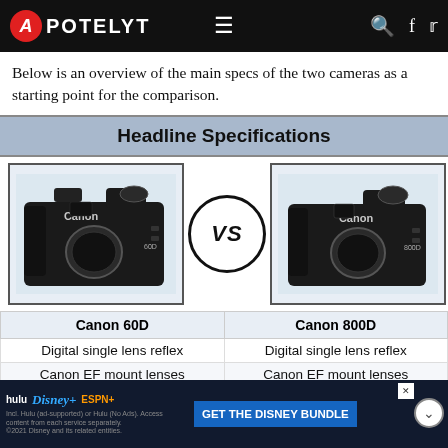APOTELYT
Below is an overview of the main specs of the two cameras as a starting point for the comparison.
| Canon 60D | Canon 800D |
| --- | --- |
| Digital single lens reflex | Digital single lens reflex |
| Canon EF mount lenses | Canon EF mount lenses |
| 17.9 MP – APS-C sensor | 24 MP – APS-C sensor |
| 1080/30p Video | 1080/60p Video |
| ISO 100-6,400 (100 - 12,800) | ISO 100-25,600 (100 - 51,200) |
| Optical viewfinder | Optical viewfinder |
[Figure (photo): Canon 60D camera body (front view, no lens) vs Canon 800D camera body (front view, no lens), separated by a VS circle logo]
[Figure (screenshot): Disney Bundle advertisement banner with Hulu, Disney+, and ESPN+ logos and GET THE DISNEY BUNDLE call to action]